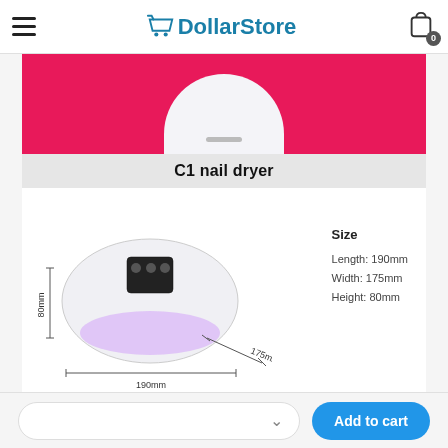DollarStore
[Figure (photo): Product page for C1 nail dryer showing the device from above with pink background partially visible at top, then a white nail lamp/dryer device with dimensional annotations: 190mm length, 175mm width, 80mm height. Size information listed to the right.]
C1 nail dryer
Size
Length: 190mm
Width: 175mm
Height: 80mm